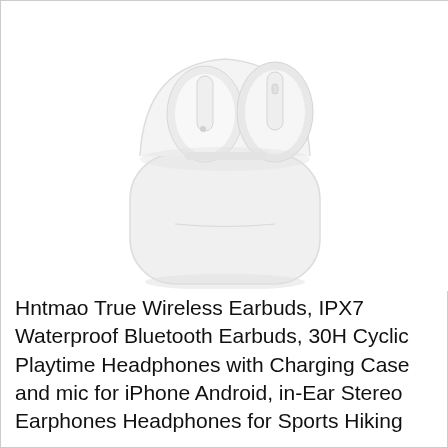[Figure (photo): White wireless earbuds in an open white charging case, product photo on white background]
Hntmao True Wireless Earbuds, IPX7 Waterproof Bluetooth Earbuds, 30H Cyclic Playtime Headphones with Charging Case and mic for iPhone Android, in-Ear Stereo Earphones Headphones for Sports Hiking